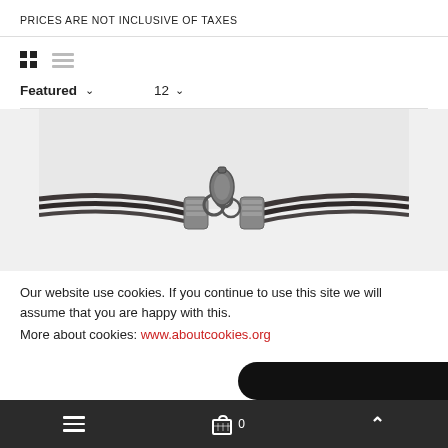PRICES ARE NOT INCLUSIVE OF TAXES
[Figure (infographic): Grid view and list view toggle icons]
Featured ˅  12 ˅
[Figure (photo): Close-up photo of a black leather bracelet with silver clasp and end caps]
Our website use cookies. If you continue to use this site we will assume that you are happy with this. More about cookies: www.aboutcookies.org
≡  🛒 0  ∧